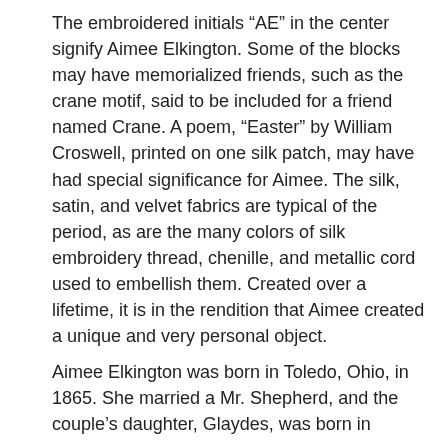The embroidered initials “AE” in the center signify Aimee Elkington. Some of the blocks may have memorialized friends, such as the crane motif, said to be included for a friend named Crane. A poem, “Easter” by William Croswell, printed on one silk patch, may have had special significance for Aimee. The silk, satin, and velvet fabrics are typical of the period, as are the many colors of silk embroidery thread, chenille, and metallic cord used to embellish them. Created over a lifetime, it is in the rendition that Aimee created a unique and very personal object.
Aimee Elkington was born in Toledo, Ohio, in 1865. She married a Mr. Shepherd, and the couple’s daughter, Glaydes, was born in Florida about 1890. On the 1900 census, Aimee was widowed, she and young daughter were living with her mother, Elizabeth Elkington Power, and stepfather, Samuel Power, in Eustis, Lake County,